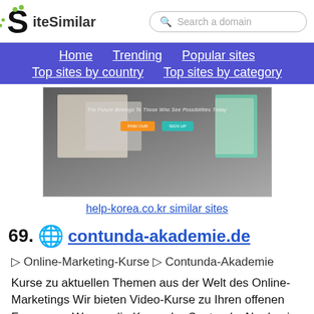SiteSimilar — Search a domain — Home | Trending | Popular sites | Top sites by country | Top sites by category
[Figure (screenshot): Screenshot of help-korea.co.kr website showing a dark background with the tagline 'The Future Belongs To Those Who See Possibilities Today' and two call-to-action buttons]
help-korea.co.kr similar sites
69. contunda-akademie.de
▷ Online-Marketing-Kurse ▷ Contunda-Akademie
Kurse zu aktuellen Themen aus der Welt des Online-Marketings Wir bieten Video-Kurse zu Ihren offenen Fragen an. Warum die Kurse der Contunda-Akademie besuchen? Wir erstellen